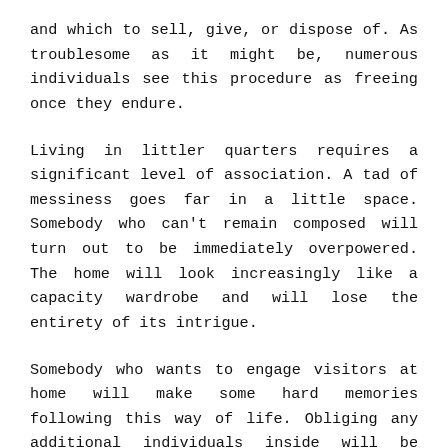and which to sell, give, or dispose of. As troublesome as it might be, numerous individuals see this procedure as freeing once they endure.
Living in littler quarters requires a significant level of association. A tad of messiness goes far in a little space. Somebody who can't remain composed will turn out to be immediately overpowered. The home will look increasingly like a capacity wardrobe and will lose the entirety of its intrigue.
Somebody who wants to engage visitors at home will make some hard memories following this way of life. Obliging any additional individuals inside will be testing if certainly feasible. Contingent upon the atmosphere and the season, property holders can think about engaging visitors outside